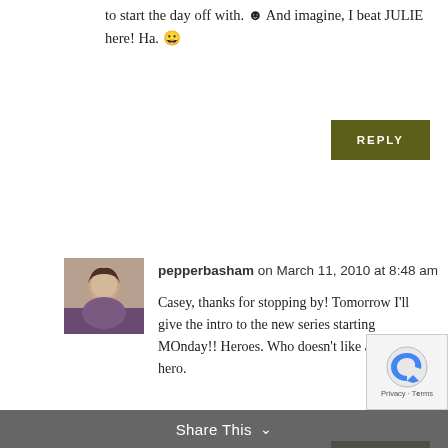to start the day off with. ☻ And imagine, I beat JULIE here! Ha. 😊
[Figure (other): Reply button (dark olive green)]
[Figure (photo): Avatar photo of pepperbasham]
pepperbasham on March 11, 2010 at 8:48 am
Casey, thanks for stopping by! Tomorrow I'll give the intro to the new series starting MOnday!! Heroes. Who doesn't like a good hero.
[Figure (other): Reply button (dark olive green)]
[Figure (photo): Avatar photo of cate tuten]
cate tuten on March 11, 2010 at 11:25 am
Pepper, I know you are desiring to beco a Christian Romance Writer, and I'm sur your "wait" is preparing you for all good
Share This ∨